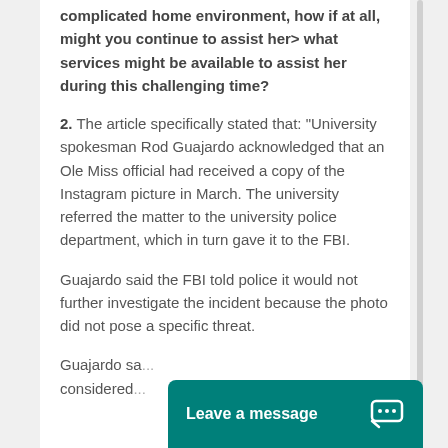complicated home environment, how if at all, might you continue to assist her> what services might be available to assist her during this challenging time?
2. The article specifically stated that: "University spokesman Rod Guajardo acknowledged that an Ole Miss official had received a copy of the Instagram picture in March. The university referred the matter to the university police department, which in turn gave it to the FBI.
Guajardo said the FBI told police it would not further investigate the incident because the photo did not pose a specific threat.
Guajardo sa... considered...
[Figure (screenshot): Teal chat widget with text 'Leave a message' and a chat bubble icon]